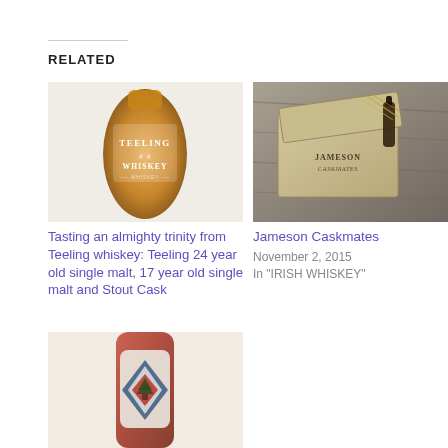RELATED
[Figure (photo): Teeling Whiskey bottle close-up showing the label with eagle logo]
Tasting an almighty trinity from Teeling whiskey: Teeling 24 year old single malt, 17 year old single malt and Stout Cask
August 31, 2019
In "IRISH WHISKEY"
[Figure (photo): Jameson Caskmates whiskey miniature bottle in a wooden gift box on a wooden surface]
Jameson Caskmates
November 2, 2015
In "IRISH WHISKEY"
[Figure (photo): Whiskey bottle with diamond-shaped label featuring a pine tree logo]